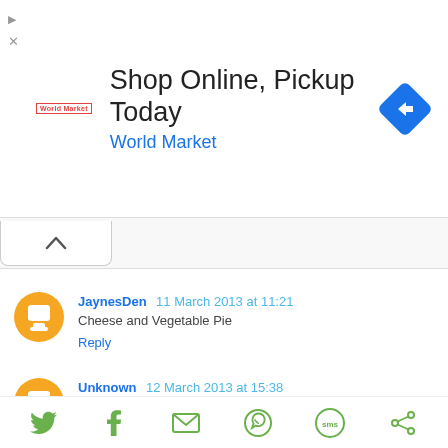[Figure (screenshot): Advertisement banner for World Market: 'Shop Online, Pickup Today' with World Market logo and blue navigation arrow icon]
JaynesDen 11 March 2013 at 11:21
Cheese and Vegetable Pie
Reply
Unknown 11 March 2013 at 12:09
Cottage pie!
Reply
Unknown 12 March 2013 at 15:38
[Figure (screenshot): Social sharing bar with Twitter, Facebook, Email, WhatsApp, SMS, and other share icons in green]